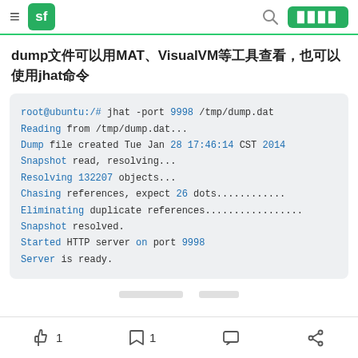sf navigation bar with hamburger menu, sf logo, search icon, and action button
dump文件可以用MAT、VisualVM等工具查看，也可以使用jhat命令
[Figure (screenshot): Terminal code block showing jhat command output: root@ubuntu:/# jhat -port 9998 /tmp/dump.dat, Reading from /tmp/dump.dat..., Dump file created Tue Jan 28 17:46:14 CST 2014, Snapshot read, resolving..., Resolving 132207 objects..., Chasing references, expect 26 dots..........., Eliminating duplicate references..............., Snapshot resolved., Started HTTP server on port 9998, Server is ready.]
👍 1   🔖 1   💬   🔗